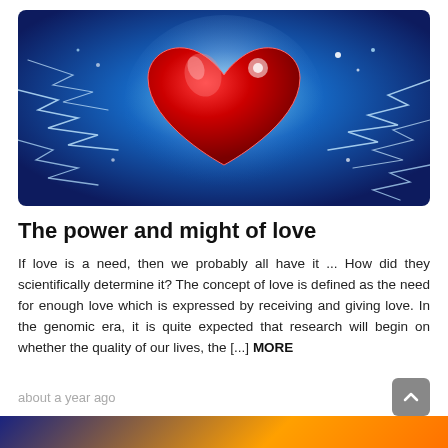[Figure (illustration): A glowing red heart with electric lightning bolt effects on a deep blue background, with light rays and sparkling highlights around the heart.]
The power and might of love
If love is a need, then we probably all have it ... How did they scientifically determine it? The concept of love is defined as the need for enough love which is expressed by receiving and giving love. In the genomic era, it is quite expected that research will begin on whether the quality of our lives, the [...] MORE
about a year ago